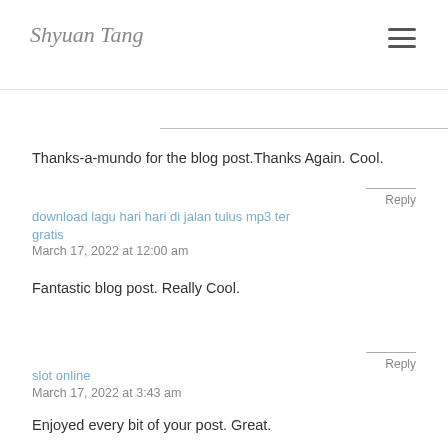Shyuan Tang
Thanks-a-mundo for the blog post.Thanks Again. Cool.
Reply
download lagu hari hari di jalan tulus mp3 terbaru gratis
March 17, 2022 at 12:00 am
Fantastic blog post. Really Cool.
Reply
slot online
March 17, 2022 at 3:43 am
Enjoyed every bit of your post. Great.